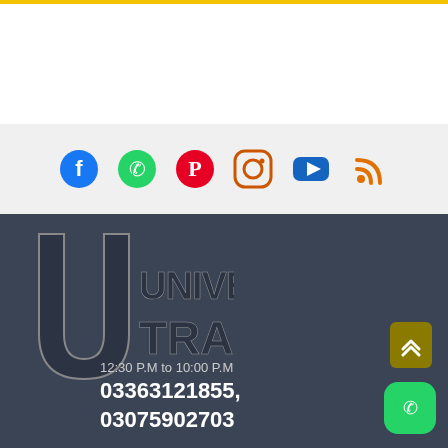[Figure (logo): Social media icons row: Facebook (blue), WhatsApp (green), Pinterest (red), Instagram (orange outline), YouTube (blue), RSS (orange)]
[Figure (logo): Universals Trader logo with large U icon and bold text UNIVERSALS TRADER on dark background]
12:30 P.M to 10:00 P.M
03363121855, 03075902703